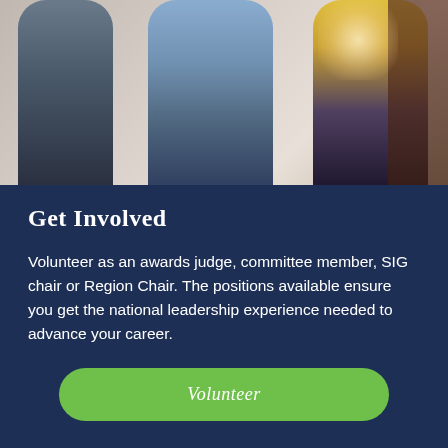[Figure (photo): Photo of three people standing together, including a person in a blue shirt in the center and a person in a yellow cardigan on the right]
Get Involved
Volunteer as an awards judge, committee member, SIG chair or Region Chair. The positions available ensure you get the national leadership experience needed to advance your career.
Volunteer